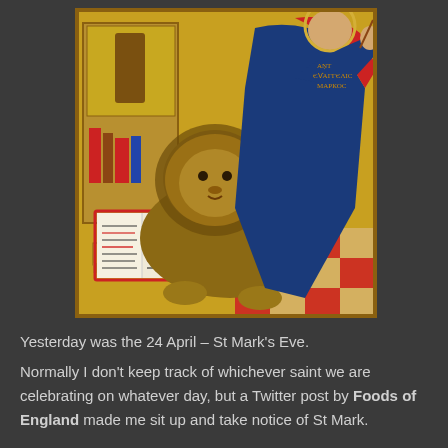[Figure (illustration): Orthodox icon painting depicting Saint Mark the Evangelist in blue robes reclining beside a lion, with an open book (gospel) in the foreground. Background shows a checkered red and gold floor and a wooden cabinet with books. The icon is in a Byzantine style with gold background.]
Yesterday was the 24 April – St Mark's Eve.
Normally I don't keep track of whichever saint we are celebrating on whatever day, but a Twitter post by Foods of England made me sit up and take notice of St Mark.